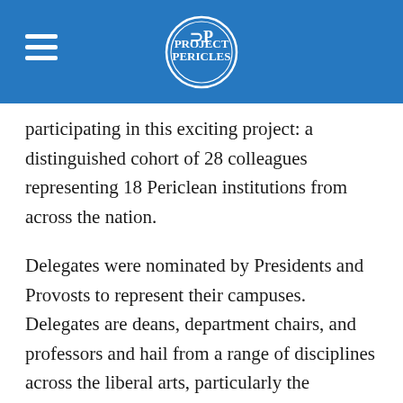Project Pericles (logo)
participating in this exciting project: a distinguished cohort of 28 colleagues representing 18 Periclean institutions from across the nation.
Delegates were nominated by Presidents and Provosts to represent their campuses. Delegates are deans, department chairs, and professors and hail from a range of disciplines across the liberal arts, particularly the humanities including: Art History, Dance, English, History, Philosophy, Religion, Theatre, Women's and Gender Studies, and World Languages.